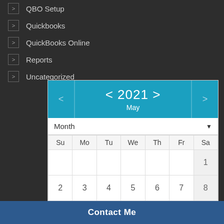QBO Setup
Quickbooks
QuickBooks Online
Reports
Uncategorized
[Figure (other): Calendar widget showing May 2021 with navigation arrows, month dropdown, day headers Su Mo Tu We Th Fr Sa, and date grid. Week rows visible: row with 1 (Sa); row with 2-8; row with 9-15; row with 16-22 (partial).]
Contact Me